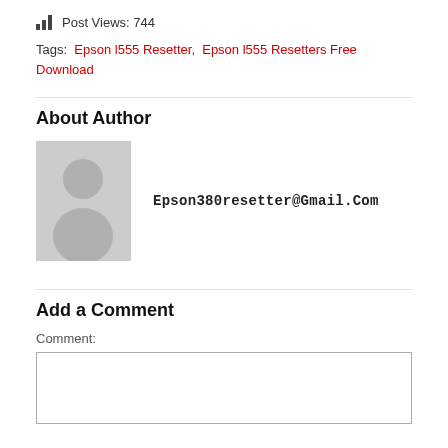Post Views: 744
Tags: Epson l555 Resetter, Epson l555 Resetters Free Download
About Author
[Figure (photo): Generic user avatar placeholder - grey silhouette of a person on light grey background]
Epson380resetter@Gmail.Com
Add a Comment
Comment: